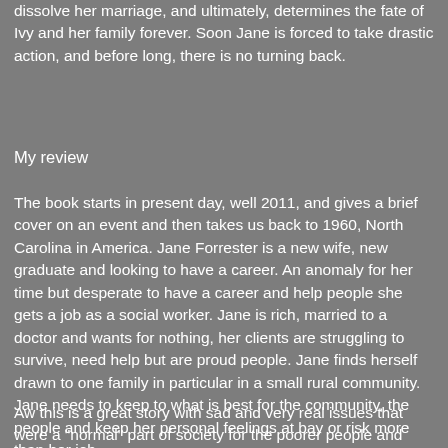dissolve her marriage, and ultimately, determines the fate of Ivy and her family forever. Soon Jane is forced to take drastic action, and before long, there is no turning back.
My review
The book starts in present day, well 2011, and gives a brief cover on an event and then takes us back to 1960, North Carolina in America. Jane Forrester is a new wife, new graduate and looking to have a career. An anomaly for her time but desperate to have a career and help people she gets a job as a social worker. Jane is rich, married to a doctor and wants for nothing, her clients are struggling to survive, need help but are proud people. Jane finds herself drawn to one family in particular in a small rural community. Jane needs to keep to what is best for the community, the people and keep her personal feelings at bay or risk more than her job.
Aw this is a great story with sad and very real issues that were a "normal" part of society for the poorer people and